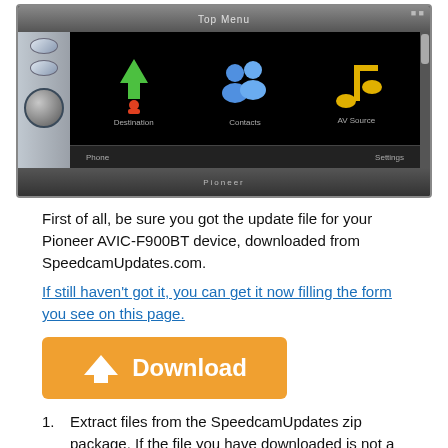[Figure (screenshot): Pioneer AVIC-F900BT car navigation unit screen showing Top Menu with Destination (green arrow icon), Contacts (blue people icon), AV Source (yellow music note icon), Phone and Settings options]
First of all, be sure you got the update file for your Pioneer AVIC-F900BT device, downloaded from SpeedcamUpdates.com.
If still haven't got it, you can get it now filling the form you see on this page.
[Figure (other): Orange Download button with upward chevron arrow icon and 'Download' text]
Extract files from the SpeedcamUpdates zip package. If the file you have downloaded is not a ZIP file means the file is already decompressed